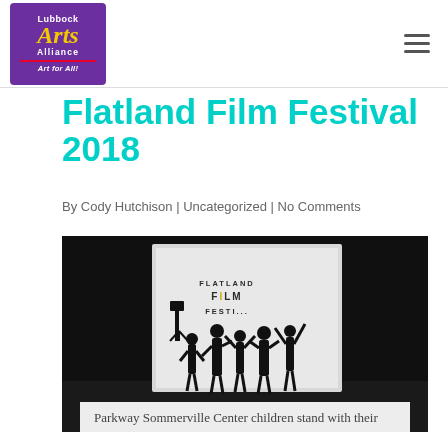[Figure (logo): Lubbock Arts Alliance logo — purple square with 'Lubbock' in white, 'Arts' in yellow italic, 'Alliance' in white, red underline, 'Art for All!' in white italic]
Flatland Film Festival 2018
By Cody Hutchison | Uncategorized | No Comments
[Figure (photo): Black and white photo of children silhouetted against a projection screen showing 'Flatland Film Festival' signage, children have arms raised]
Parkway Sommerville Center children stand with their